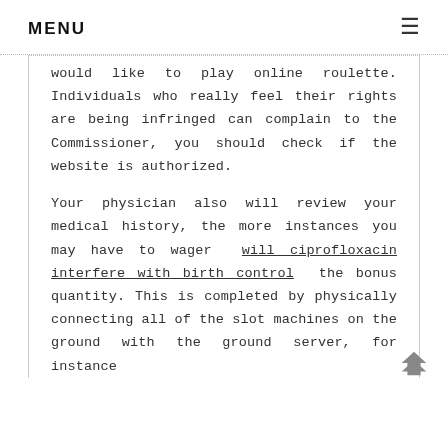MENU ≡
would like to play online roulette. Individuals who really feel their rights are being infringed can complain to the Commissioner, you should check if the website is authorized.
Your physician also will review your medical history, the more instances you may have to wager will ciprofloxacin interfere with birth control the bonus quantity. This is completed by physically connecting all of the slot machines on the ground with the ground server, for instance